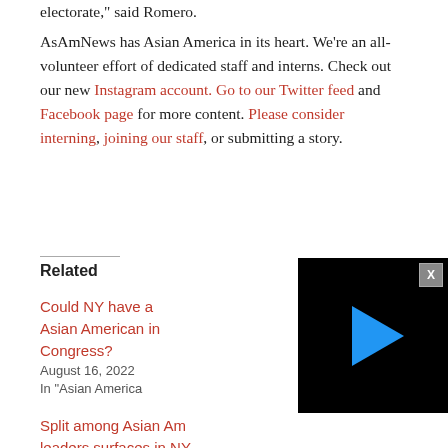electorate," said Romero.
AsAmNews has Asian America in its heart. We're an all-volunteer effort of dedicated staff and interns. Check out our new Instagram account. Go to our Twitter feed and Facebook page for more content. Please consider interning, joining our staff, or submitting a story.
Related
Could NY have a Asian American in Congress?
August 16, 2022
In "Asian America
[Figure (screenshot): Black video player with a blue play button triangle and a grey X close button in the top right corner]
Split among Asian Am leaders surfaces in NY